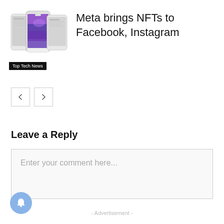[Figure (screenshot): Three smartphone screens showing app interfaces with colorful purple/blue backgrounds, labeled 'Top Tech News']
Meta brings NFTs to Facebook, Instagram
[Figure (other): Navigation buttons: left arrow and right arrow]
Leave a Reply
Enter your comment here...
- Advertisement -